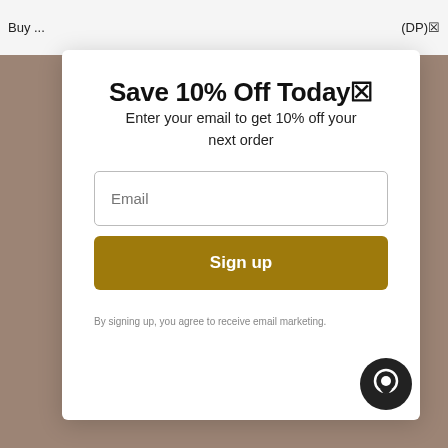Buy ...   (DP)
Save 10% Off Today🔖
Enter your email to get 10% off your next order
Email
Sign up
By signing up, you agree to receive email marketing.
[Figure (illustration): Dark circular chat bubble icon in bottom right corner of modal]